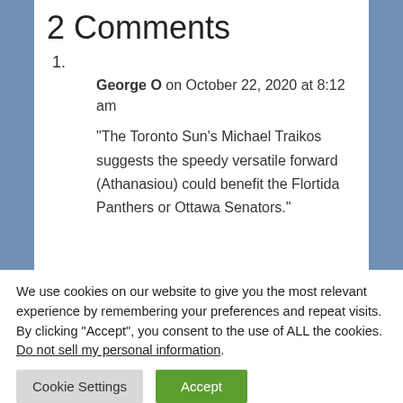2 Comments
1.
George O on October 22, 2020 at 8:12 am
“The Toronto Sun’s Michael Traikos suggests the speedy versatile forward (Athanasiou) could benefit the Flortida Panthers or Ottawa Senators.”
We use cookies on our website to give you the most relevant experience by remembering your preferences and repeat visits. By clicking “Accept”, you consent to the use of ALL the cookies. Do not sell my personal information.